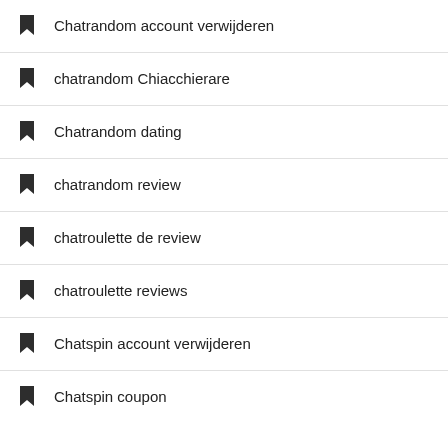Chatrandom account verwijderen
chatrandom Chiacchierare
Chatrandom dating
chatrandom review
chatroulette de review
chatroulette reviews
Chatspin account verwijderen
Chatspin coupon